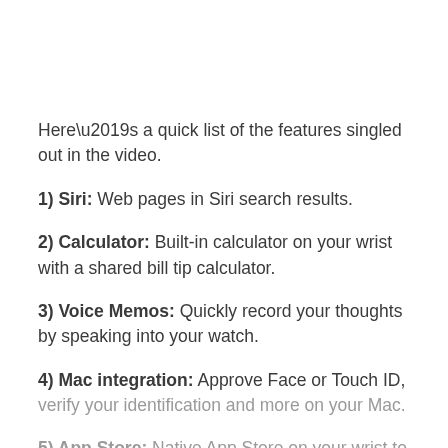Here’s a quick list of the features singled out in the video.
1) Siri: Web pages in Siri search results.
2) Calculator: Built-in calculator on your wrist with a shared bill tip calculator.
3) Voice Memos: Quickly record your thoughts by speaking into your watch.
4) Mac integration: Approve Face or Touch ID, verify your identification and more on your Mac.
5) App Store: Native App Store on your wrist to...